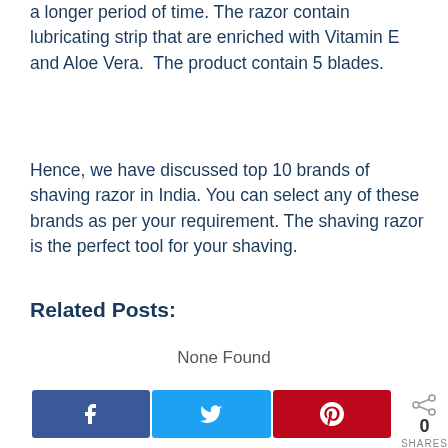a longer period of time. The razor contain lubricating strip that are enriched with Vitamin E and Aloe Vera. The product contain 5 blades.
Hence, we have discussed top 10 brands of shaving razor in India. You can select any of these brands as per your requirement. The shaving razor is the perfect tool for your shaving.
Related Posts:
None Found
[Figure (other): Social sharing bar with Facebook (blue), Twitter (light blue), Pinterest (red) buttons and a share count showing 0 SHARES]